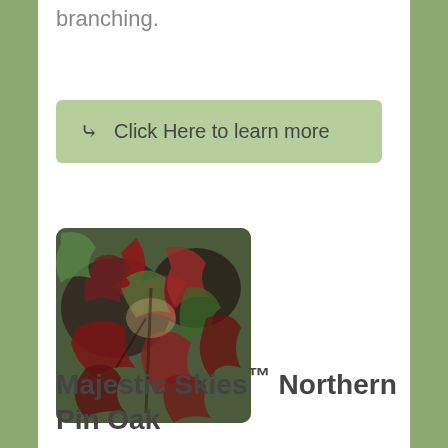branching.
[Figure (other): Green button with chevron icon and text 'Click Here to learn more']
[Figure (photo): Close-up photograph of oak tree leaves in dark red, green, and brown autumn colors]
Majestic Skies™ Northern Pin Oak